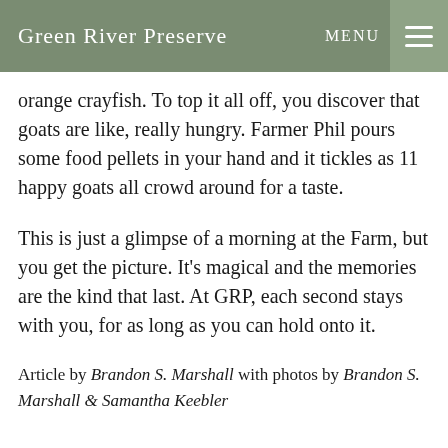Green River Preserve
orange crayfish. To top it all off, you discover that goats are like, really hungry. Farmer Phil pours some food pellets in your hand and it tickles as 11 happy goats all crowd around for a taste.
This is just a glimpse of a morning at the Farm, but you get the picture. It's magical and the memories are the kind that last. At GRP, each second stays with you, for as long as you can hold onto it.
Article by Brandon S. Marshall with photos by Brandon S. Marshall & Samantha Keebler